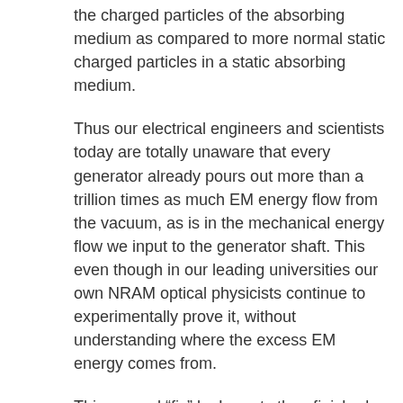the charged particles of the absorbing medium as compared to more normal static charged particles in a static absorbing medium.
Thus our electrical engineers and scientists today are totally unaware that every generator already pours out more than a trillion times as much EM energy flow from the vacuum, as is in the mechanical energy flow we input to the generator shaft. This even though in our leading universities our own NRAM optical physicists continue to experimentally prove it, without understanding where the excess EM energy comes from.
This second “fix” by Lorentz then finished Morgan’s suppression of the “new electrical engineering science” so that it would not contain asymmetrical Maxwellian systems nor would it contain Heaviside’s giant curled EM energy flow component. With these changes, Morgan (using Lorentz’s services) deliberately crippled electrical engineering and electrical power systems for more than 100 years, and guaranteed that COP>1.0 and self-powering Maxwellian systems – permitted by